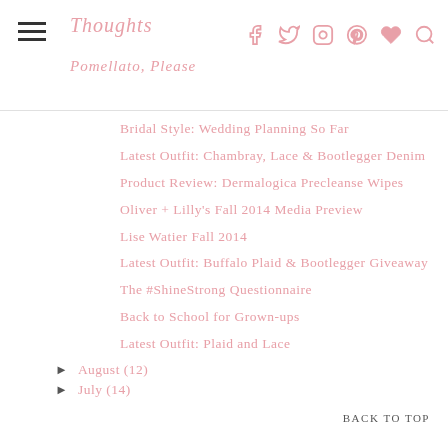Thoughts | Pomellato, Please
Bridal Style: Wedding Planning So Far
Latest Outfit: Chambray, Lace & Bootlegger Denim
Product Review: Dermalogica Precleanse Wipes
Oliver + Lilly's Fall 2014 Media Preview
Lise Watier Fall 2014
Latest Outfit: Buffalo Plaid & Bootlegger Giveaway
The #ShineStrong Questionnaire
Back to School for Grown-ups
Latest Outfit: Plaid and Lace
▶ August (12)
▶ July (14)